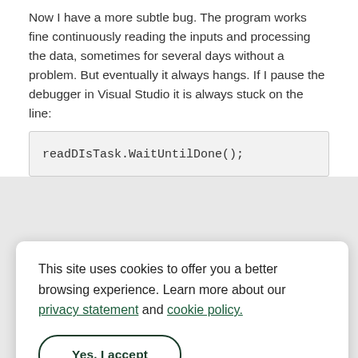Now I have a more subtle bug. The program works fine continuously reading the inputs and processing the data, sometimes for several days without a problem. But eventually it always hangs. If I pause the debugger in Visual Studio it is always stuck on the line:
readDIsTask.WaitUntilDone();
This site uses cookies to offer you a better browsing experience. Learn more about our privacy statement and cookie policy.
Yes, I accept